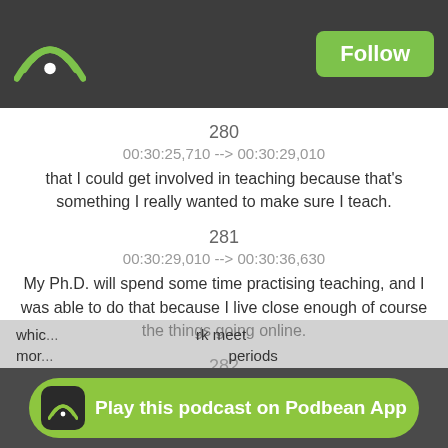[Figure (logo): Podbean wifi/podcast icon in top-left of dark header bar]
Follow
280
00:30:25,710 --> 00:30:29,010
that I could get involved in teaching because that's something I really wanted to make sure I teach.
281
00:30:29,010 --> 00:30:36,630
My Ph.D. will spend some time practising teaching, and I was able to do that because I live close enough of course the things going online.
282
00:30:36,630 --> 00:30:38,730
It's made it much easier to be part of
283
00:30:38,730 --> 00:30:47,370
which is... more...  rk meet    periods
Play this podcast on Podbean App